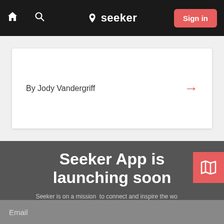[Figure (screenshot): Top navigation bar with home icon, search icon, Seeker logo with map pin, and red Sign in button on black background]
By Jody Vandergriff
Seeker App is launching soon
Seeker is on a mission to connect and inspire the world's travelers. Sign up for early access to our community of travelers around the globe.
Email